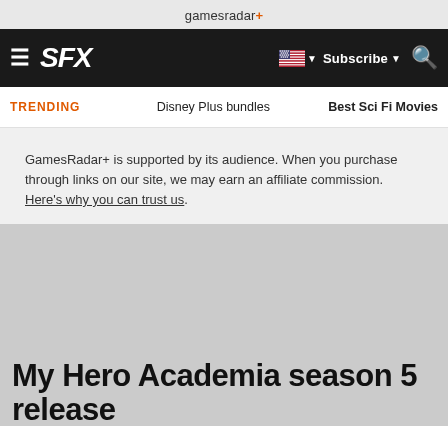gamesradar+
SFX Subscribe
TRENDING Disney Plus bundles Best Sci Fi Movies
GamesRadar+ is supported by its audience. When you purchase through links on our site, we may earn an affiliate commission. Here's why you can trust us.
My Hero Academia season 5 release